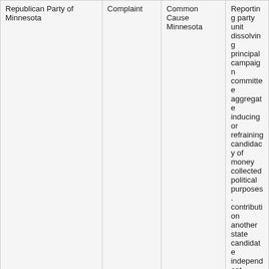| Party/Entity | Action Type | Complainant/Source | Subject/Description |
| --- | --- | --- | --- |
| Republican Party of Minnesota | Complaint | Common Cause Minnesota | Reporting party unit dissolving principal campaign committee aggregate inducing or refraining candidacy of money collected political purposes. contribution another state candidate independent expenditure recordkee |
| Republican Party of Minnesota | Complaint | Minnesota Democratic Farmer Labor Party | Reporting |
| Republican Party of Minnesota – Federal | Staff review |  | Contribution from |